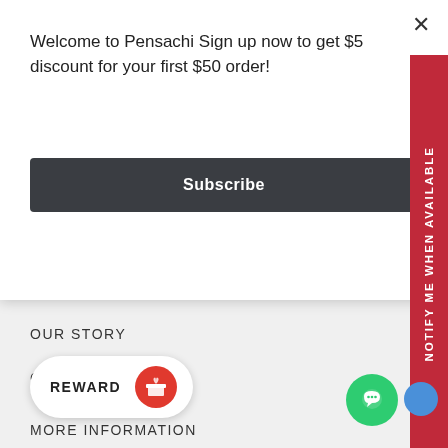Welcome to Pensachi Sign up now to get $5 discount for your first $50 order!
Subscribe
OUR STORY
CONTACT US
MORE INFORMATION
PRIVACY POLICY
HANDLING PROCESS
SH...
WARRANTY & RETURN
NOTIFY ME WHEN AVAILABLE
REWARD